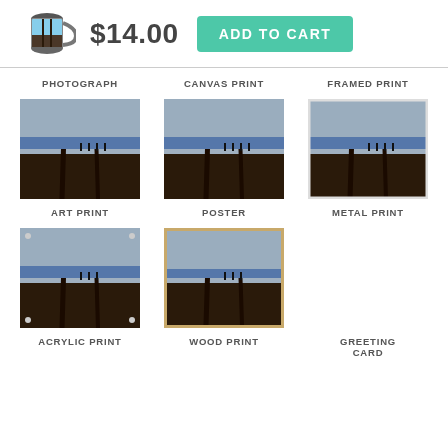[Figure (photo): Mug product image with beach scene]
$14.00
ADD TO CART
PHOTOGRAPH
[Figure (photo): Beach scene thumbnail for photograph product]
CANVAS PRINT
[Figure (photo): Beach scene thumbnail for canvas print product]
FRAMED PRINT
[Figure (photo): Beach scene thumbnail for framed print product]
ART PRINT
[Figure (photo): Beach scene thumbnail for art print product]
POSTER
[Figure (photo): Beach scene thumbnail for poster product]
METAL PRINT
ACRYLIC PRINT
[Figure (photo): Beach scene thumbnail for acrylic print product]
WOOD PRINT
[Figure (photo): Beach scene thumbnail for wood print product]
GREETING CARD